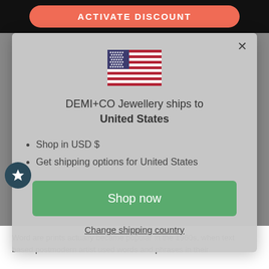[Figure (screenshot): Top bar with coral 'ACTIVATE DISCOUNT' button on black background]
[Figure (screenshot): Modal popup showing US flag, shipping info for United States, Shop now button, and Change shipping country link]
ACTIVATE DISCOUNT
DEMI+CO Jewellery ships to United States
Shop in USD $
Get shipping options for United States
Shop now
Change shipping country
Word are prints actually became popular in the 1960s, when text based postmodern artist used words and phrases in their